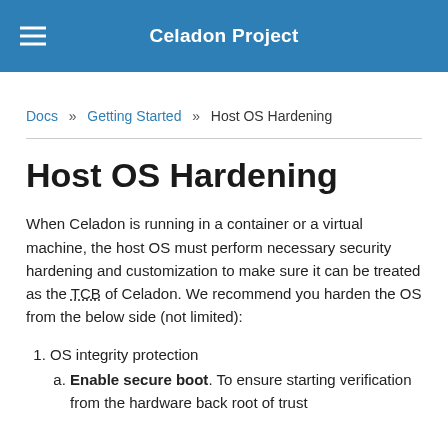Celadon Project
Docs » Getting Started » Host OS Hardening
Host OS Hardening
When Celadon is running in a container or a virtual machine, the host OS must perform necessary security hardening and customization to make sure it can be treated as the TCB of Celadon. We recommend you harden the OS from the below side (not limited):
OS integrity protection
Enable secure boot. To ensure starting verification from the hardware back root of trust